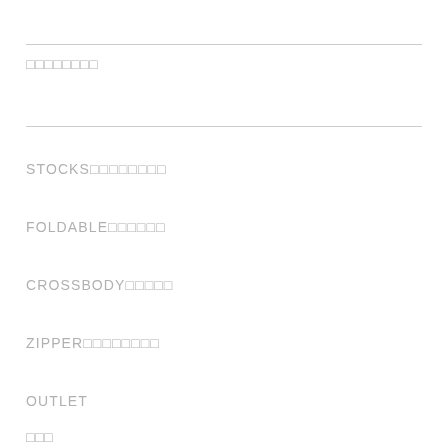□□□□□□□□
STOCKS□□□□□□□□
FOLDABLE□□□□□□
CROSSBODY□□□□□
ZIPPER□□□□□□□□
OUTLET
□□□